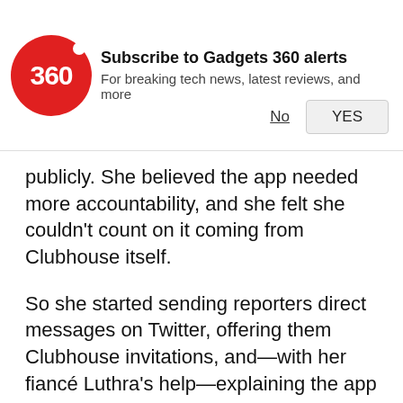[Figure (other): Gadgets 360 notification banner with red circular logo showing '360', bold text 'Subscribe to Gadgets 360 alerts', subtext 'For breaking tech news, latest reviews, and more', and two buttons: 'No' (underlined) and 'YES' (button style)]
publicly. She believed the app needed more accountability, and she felt she couldn't count on it coming from Clubhouse itself.
So she started sending reporters direct messages on Twitter, offering them Clubhouse invitations, and—with her fiancé Luthra's help—explaining the app over the phone to the new recruits, one or two at a time. One of the reporters Szalavitz brought in, Tatiana Walk-Morris, wrote a well-read article in Vanity Fair about how the app's design allowed racist and Islamophobic ideas to proliferate, even from well-known users.